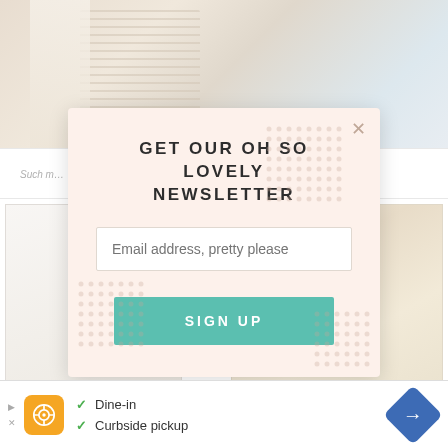[Figure (screenshot): Background website page showing a lifestyle/home décor blog with macramé and curtain imagery and a grid of photos below]
GET OUR OH SO LOVELY NEWSLETTER
Email address, pretty please
SIGN UP
[Figure (infographic): Advertisement banner showing restaurant info: Dine-in, Curbside pickup with checkmarks, an orange logo, and a blue navigation arrow icon]